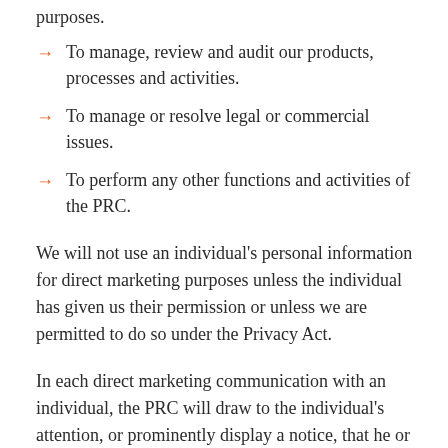purposes.
To manage, review and audit our products, processes and activities.
To manage or resolve legal or commercial issues.
To perform any other functions and activities of the PRC.
We will not use an individual’s personal information for direct marketing purposes unless the individual has given us their permission or unless we are permitted to do so under the Privacy Act.
In each direct marketing communication with an individual, the PRC will draw to the individual’s attention, or prominently display a notice, that he or she may